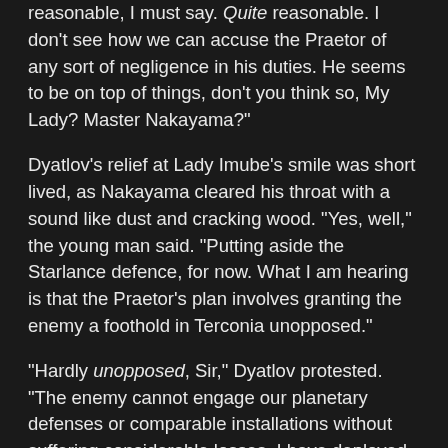reasonable, I must say. Quite reasonable. I don't see how we can accuse the Praetor of any sort of negligence in his duties. He seems to be on top of things, don't you think so, My Lady? Master Nakayama?"
Dyatlov's relief at Lady Imube's smile was short lived, as Nakayama cleared his throat with a sound like dust and cracking wood. "Yes, well," the young man said. "Putting aside the Starlance defence, for now. What I am hearing is that the Praetor's plan involves granting the enemy a foothold in Terconia unopposed."
"Hardly unopposed, Sir," Dyatlov protested. "The enemy cannot engage our planetary defenses or comparable installations without suffering considerable losses. I have deployed my forces in such a way that they will be able to delay any concentrated assault long enough for our entire fleet to translate to the battlefield. And, from that point on, the enemy will need to either retreat, or bounce between targets, with our fleet in hot pursuit. French's fleet simply does not have the capability for a concentrated attack on